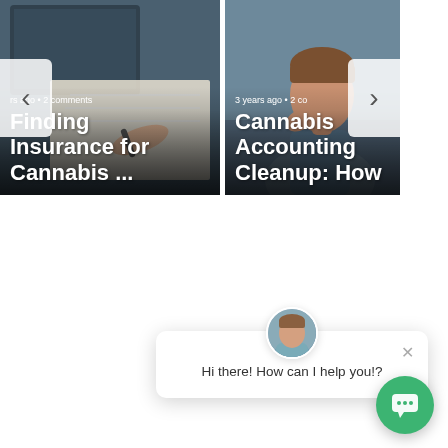[Figure (screenshot): Carousel card - article about Finding Insurance for Cannabis with person writing on laptop/notebook]
Finding Insurance for Cannabis ...
rs ago • 2 comments
[Figure (screenshot): Carousel card - article about Cannabis Accounting Cleanup: How with man thinking/stressed]
Cannabis Accounting Cleanup: How
3 years ago • 2 co
[Figure (screenshot): Live chat popup widget with avatar and message: Hi there! How can I help you!?]
Hi there! How can I help you!?